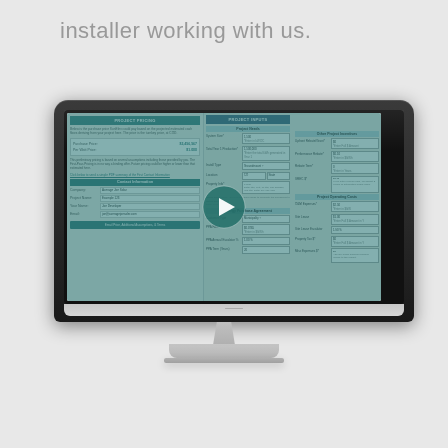installer working with us.
[Figure (screenshot): A computer monitor displaying a solar project pricing tool with PROJECT PRICING panel on left and PROJECT INPUTS panel on right, with a video play button overlay indicating this is a screenshot from a video.]